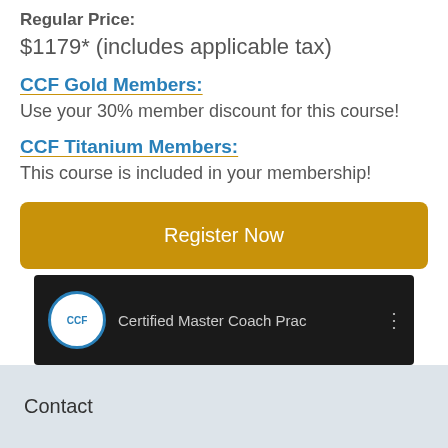Regular Price:
$1179* (includes applicable tax)
CCF Gold Members:
Use your 30% member discount for this course!
CCF Titanium Members:
This course is included in your membership!
[Figure (screenshot): Orange 'Register Now' button]
[Figure (screenshot): Video thumbnail showing CCF logo and text 'Certified Master Coach Prac' on dark background]
Contact